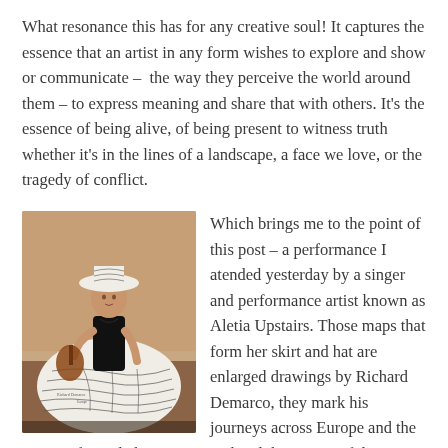What resonance this has for any creative soul! It captures the essence that an artist in any form wishes to explore and show or communicate –  the way they perceive the world around them – to express meaning and share that with others. It's the essence of being alive, of being present to witness truth whether it's in the lines of a landscape, a face we love, or the tragedy of conflict.
[Figure (photo): A female performer (Aletia Upstairs) wearing an elaborate costume: a corset top, a large skirt and hat made from enlarged map drawings by Richard Demarco, playing a guitar on stage.]
Which brings me to the point of this post – a performance I atended yesterday by a singer and performance artist known as Aletia Upstairs. Those maps that form her skirt and hat are enlarged drawings by Richard Demarco, they mark his journeys across Europe and the names of people he encountered and the meaningful relationships and art projects that were born from these journeys.